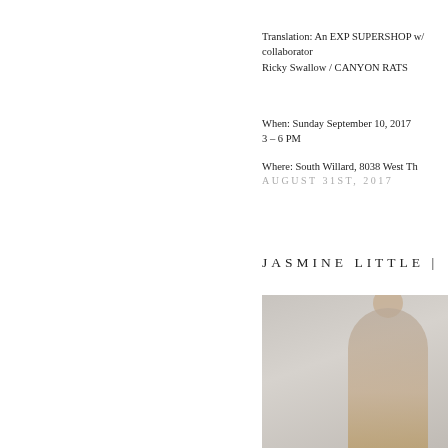Translation: An EXP SUPERSHOP w/ collaborator
Ricky Swallow / CANYON RATS
When: Sunday September 10, 2017
3 – 6 PM
Where: South Willard, 8038 West Th...
AUGUST 31ST, 2017
JASMINE LITTLE |
[Figure (photo): A photograph with a grey/beige background showing a partial figure, cropped at the bottom of the page.]